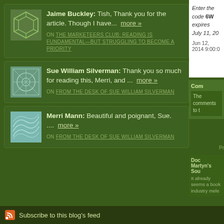Jaime Buckley: Tish, Thank you for the article. Though I have...  more »
ON THE MARKETEERS CLUB: READING IS FUNDAMENTAL—BUT STRUGGLING TO BECOME A PRIORITY
Sue William Silverman: Thank you so much for reading this, Merri, and ...  more »
ON FROM THE DESK OF SUE WILLIAM SILVERMAN
Merri Mann: Beautiful and poignant, Sue. ....  more »
ON FROM THE DESK OF SUE WILLIAM SILVERMAN
Enter the code 6W expires July 11, 20
Jun 12, 2014 9:00:0
Com
The comments to t
Pr
Doc Martyn's Sou It already seems a book industry mele
Subscribe to this blog's feed